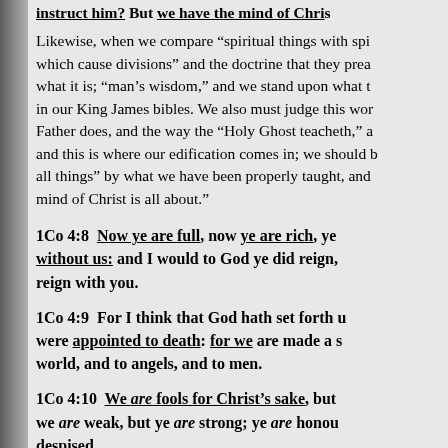instruct him? But we have the mind of Chris...
Likewise, when we compare “spiritual things with spi… which cause divisions” and the doctrine that they prea… what it is; “man’s wisdom,” and we stand upon what t… in our King James bibles. We also must judge this wor… Father does, and the way the “Holy Ghost teacheth,” a… and this is where our edification comes in; we should … all things” by what we have been properly taught, and… mind of Christ is all about.”
1Co 4:8  Now ye are full, now ye are rich, ye without us: and I would to God ye did reign, that we also might reign with you.
1Co 4:9  For I think that God hath set forth u… were appointed to death: for we are made a s… world, and to angels, and to men.
1Co 4:10  We are fools for Christ’s sake, but… we are weak, but ye are strong; ye are honou… despised.